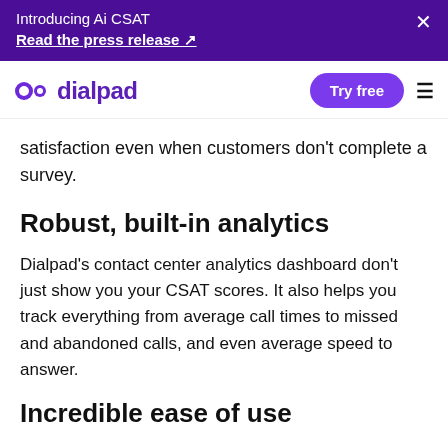Introducing Ai CSAT
Read the press release ↗
dialpad | Try free ≡
satisfaction even when customers don't complete a survey.
Robust, built-in analytics
Dialpad's contact center analytics dashboard don't just show you your CSAT scores. It also helps you track everything from average call times to missed and abandoned calls, and even average speed to answer.
Incredible ease of use